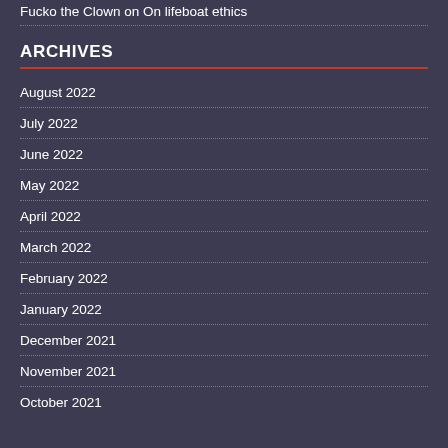Fucko the Clown on On lifeboat ethics
ARCHIVES
August 2022
July 2022
June 2022
May 2022
April 2022
March 2022
February 2022
January 2022
December 2021
November 2021
October 2021